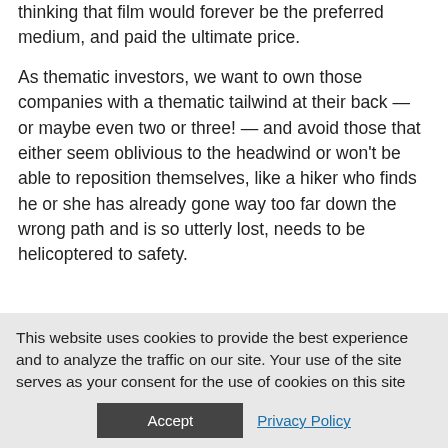thinking that film would forever be the preferred medium, and paid the ultimate price.
As thematic investors, we want to own those companies with a thematic tailwind at their back — or maybe even two or three! — and avoid those that either seem oblivious to the headwind or won't be able to reposition themselves, like a hiker who finds he or she has already gone way too far down the wrong path and is so utterly lost, needs to be helicoptered to safety.
This website uses cookies to provide the best experience and to analyze the traffic on our site. Your use of the site serves as your consent for the use of cookies on this site